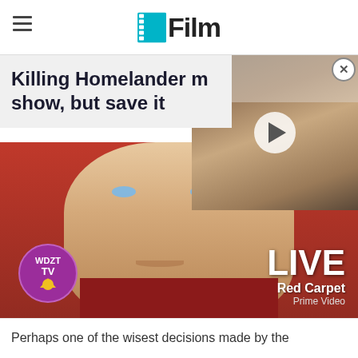/Film
Killing Homelander m... show, but save it
[Figure (screenshot): Video thumbnail showing an elderly man lying down, with a white play button overlay]
[Figure (photo): Close-up photo of a man (Homelander) in a red costume with blue eyes and a slight smirk, WDZT TV star badge in lower left, LIVE Red Carpet Prime Video text in lower right]
Perhaps one of the wisest decisions made by the